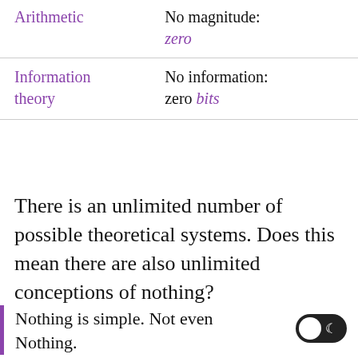|  |  |
| --- | --- |
| Arithmetic | No magnitude: zero |
| Information theory | No information: zero bits |
There is an unlimited number of possible theoretical systems. Does this mean there are also unlimited conceptions of nothing?
Nothing is simple. Not even Nothing.